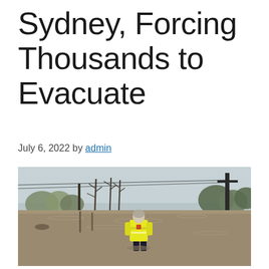Sydney, Forcing Thousands to Evacuate
July 6, 2022 by admin
[Figure (photo): Emergency worker in a yellow high-visibility jacket wading through deep floodwaters in a submerged area near Sydney, with trees, utility poles, and murky brown water visible in the background.]